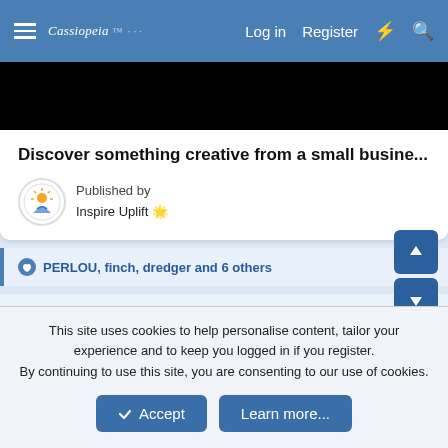Cassiopeia  Log in  Register
[Figure (photo): Black image / video thumbnail area]
Discover something creative from a small busine...
Published by
Inspire Uplift 🌟
👍 PERLOU, finch, dredger and 6 others
bjorn
The Living Force
This site uses cookies to help personalise content, tailor your experience and to keep you logged in if you register.
By continuing to use this site, you are consenting to our use of cookies.